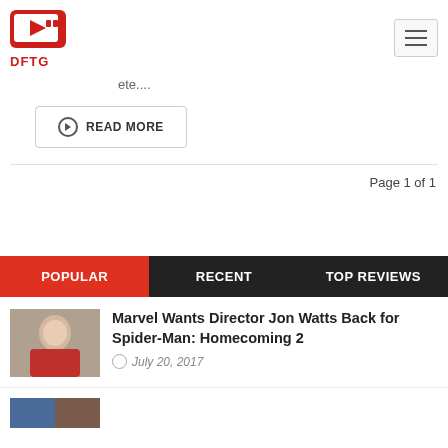DFTG
ete....
READ MORE
Page 1 of 1
POPULAR | RECENT | TOP REVIEWS
[Figure (photo): Thumbnail of person in red shirt]
Marvel Wants Director Jon Watts Back for Spider-Man: Homecoming 2
July 20, 2017
[Figure (photo): Partial thumbnail at bottom of page]